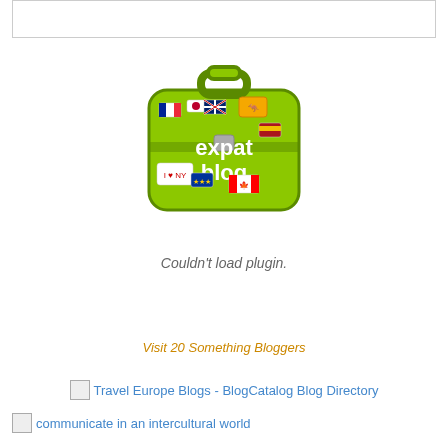[Figure (other): White rectangular box at top, likely an ad or plugin placeholder area with border]
[Figure (logo): Expat Blog logo - green suitcase with country flag stickers reading 'expat blog']
Couldn't load plugin.
Visit 20 Something Bloggers
Travel Europe Blogs - BlogCatalog Blog Directory
communicate in an intercultural world